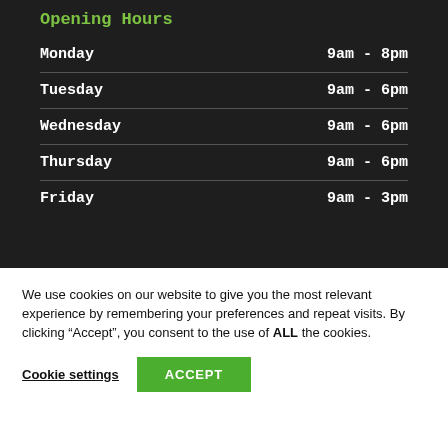Opening Hours
| Day | Hours |
| --- | --- |
| Monday | 9am - 8pm |
| Tuesday | 9am - 6pm |
| Wednesday | 9am - 6pm |
| Thursday | 9am - 6pm |
| Friday | 9am - 3pm |
We use cookies on our website to give you the most relevant experience by remembering your preferences and repeat visits. By clicking “Accept”, you consent to the use of ALL the cookies.
Cookie settings  ACCEPT